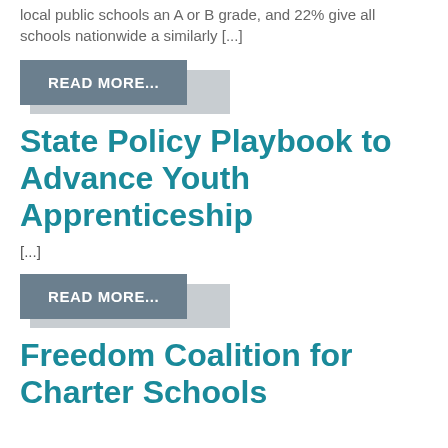local public schools an A or B grade, and 22% give all schools nationwide a similarly [...]
READ MORE...
State Policy Playbook to Advance Youth Apprenticeship
[...]
READ MORE...
Freedom Coalition for Charter Schools